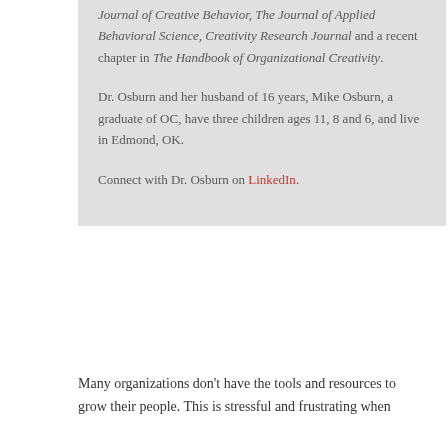Journal of Creative Behavior, The Journal of Applied Behavioral Science, Creativity Research Journal and a recent chapter in The Handbook of Organizational Creativity.
Dr. Osburn and her husband of 16 years, Mike Osburn, a graduate of OC, have three children ages 11, 8 and 6, and live in Edmond, OK.
Connect with Dr. Osburn on LinkedIn.
Many organizations don't have the tools and resources to grow their people. This is stressful and frustrating when